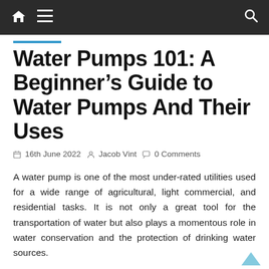Water Pumps 101 – navigation bar
Water Pumps 101: A Beginner's Guide to Water Pumps And Their Uses
16th June 2022   Jacob Vint   0 Comments
A water pump is one of the most under-rated utilities used for a wide range of agricultural, light commercial, and residential tasks. It is not only a great tool for the transportation of water but also plays a momentous role in water conservation and the protection of drinking water sources.
The modern-day water pump is well-equipped to do a lot more than circulate water around your home's pipes. An intelligently designed water pump can provide